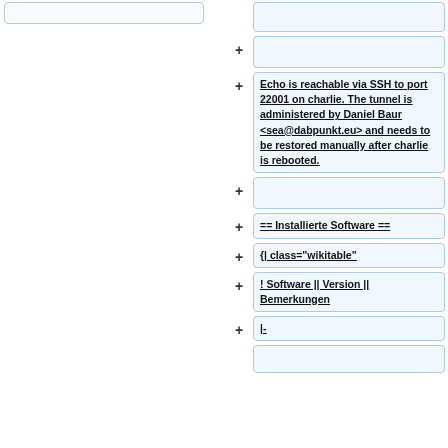Echo is reachable via SSH to port 22001 on charlie. The tunnel is administered by Daniel Baur <sea@dabpunkt.eu> and needs to be restored manually after charlie is rebooted.
== Installierte Software ==
{| class="wikitable"
! Software || Version || Bemerkungen
|-